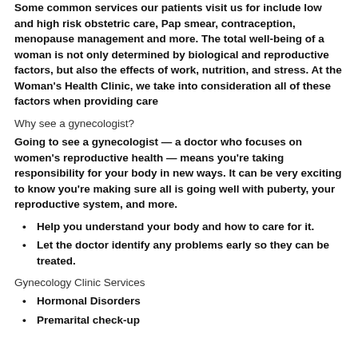Some common services our patients visit us for include low and high risk obstetric care, Pap smear, contraception, menopause management and more. The total well-being of a woman is not only determined by biological and reproductive factors, but also the effects of work, nutrition, and stress. At the Woman's Health Clinic, we take into consideration all of these factors when providing care
Why see a gynecologist?
Going to see a gynecologist — a doctor who focuses on women's reproductive health — means you're taking responsibility for your body in new ways. It can be very exciting to know you're making sure all is going well with puberty, your reproductive system, and more.
Help you understand your body and how to care for it.
Let the doctor identify any problems early so they can be treated.
Gynecology Clinic Services
Hormonal Disorders
Premarital check-up